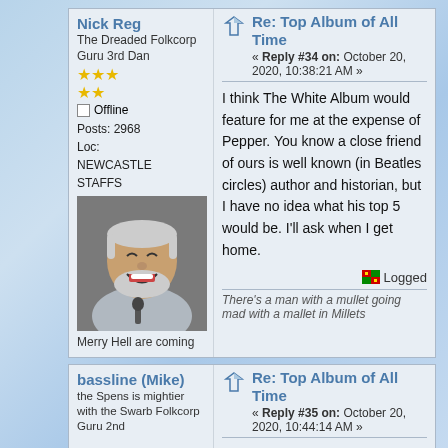Nick Reg
The Dreaded Folkcorp Guru 3rd Dan
Offline
Posts: 2968
Loc: NEWCASTLE STAFFS
[Figure (photo): Profile photo of forum user Nick Reg, an older man laughing with a microphone]
Merry Hell are coming
Re: Top Album of All Time
« Reply #34 on: October 20, 2020, 10:38:21 AM »
I think The White Album would feature for me at the expense of Pepper. You know a close friend of ours is well known (in Beatles circles) author and historian, but I have no idea what his top 5 would be. I'll ask when I get home.
Logged
There's a man with a mullet going mad with a mallet in Millets
bassline (Mike)
the Spens is mightier with the Swarb Folkcorp Guru 2nd
Re: Top Album of All Time
« Reply #35 on: October 20, 2020, 10:44:14 AM »
I could never award one album as the bestest evarrr.